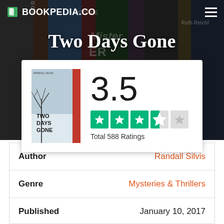BOOKPEDIA.CO
Two Days Gone
[Figure (other): Book cover for 'Two Days Gone' by Randall Silvis with rating card showing 3.5 score, 3.5 green stars out of 5, and Total 588 Ratings]
| Label | Value |
| --- | --- |
| Author | Randall Silvis |
| Genre | Mysteries & Thrillers |
| Published | January 10, 2017 |